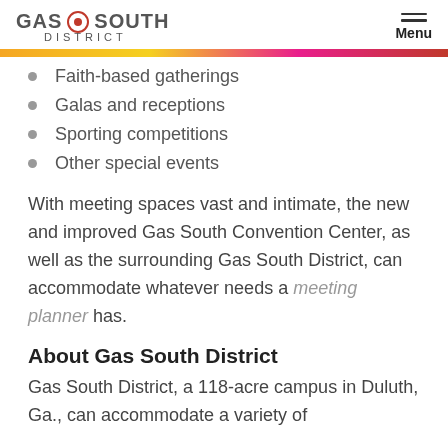GAS SOUTH DISTRICT | Menu
Faith-based gatherings
Galas and receptions
Sporting competitions
Other special events
With meeting spaces vast and intimate, the new and improved Gas South Convention Center, as well as the surrounding Gas South District, can accommodate whatever needs a meeting planner has.
About Gas South District
Gas South District, a 118-acre campus in Duluth, Ga., can accommodate a variety of